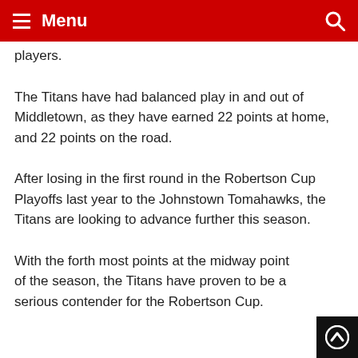Menu
players.
The Titans have had balanced play in and out of Middletown, as they have earned 22 points at home, and 22 points on the road.
After losing in the first round in the Robertson Cup Playoffs last year to the Johnstown Tomahawks, the Titans are looking to advance further this season.
With the forth most points at the midway point of the season, the Titans have proven to be a serious contender for the Robertson Cup.